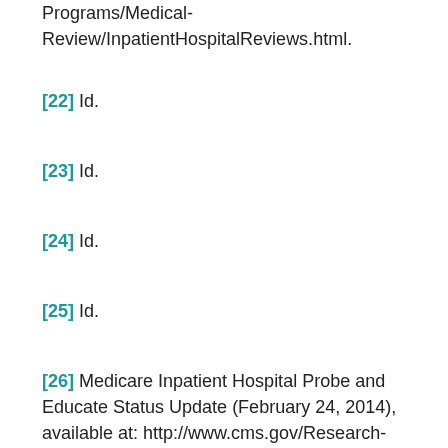Programs/Medical-Review/InpatientHospitalReviews.html.
[22] Id.
[23] Id.
[24] Id.
[25] Id.
[26] Medicare Inpatient Hospital Probe and Educate Status Update (February 24, 2014), available at: http://www.cms.gov/Research-Statistics-Data-and-Systems/Monitoring-Programs/Medicare-FFS-Compliance-